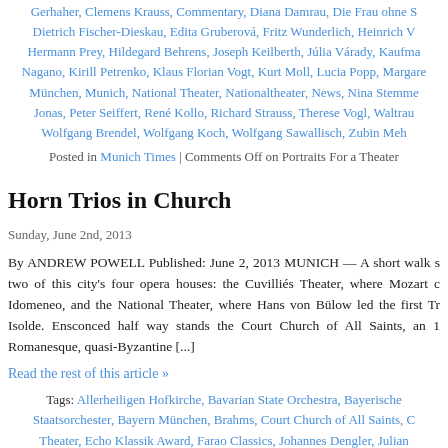Gerhaher, Clemens Krauss, Commentary, Diana Damrau, Die Frau ohne S Dietrich Fischer-Dieskau, Edita Gruberová, Fritz Wunderlich, Heinrich V Hermann Prey, Hildegard Behrens, Joseph Keilberth, Júlia Várady, Kaufma Nagano, Kirill Petrenko, Klaus Florian Vogt, Kurt Moll, Lucia Popp, Margare München, Munich, National Theater, Nationaltheater, News, Nina Stemme Jonas, Peter Seiffert, René Kollo, Richard Strauss, Therese Vogl, Waltrau Wolfgang Brendel, Wolfgang Koch, Wolfgang Sawallisch, Zubin Meh
Posted in Munich Times | Comments Off on Portraits For a Theater
Horn Trios in Church
Sunday, June 2nd, 2013
By ANDREW POWELL Published: June 2, 2013 MUNICH — A short walk s two of this city's four opera houses: the Cuvilliés Theater, where Mozart c Idomeneo, and the National Theater, where Hans von Bülow led the first Tr Isolde. Ensconced half way stands the Court Church of All Saints, an 1 Romanesque, quasi-Byzantine [...]
Read the rest of this article »
Tags: Allerheiligen Hofkirche, Bavarian State Orchestra, Bayerische Staatsorchester, Bayern München, Brahms, Court Church of All Saints, C Theater, Echo Klassik Award, Farao Classics, Johannes Dengler, Julian Koechlin, Lennox Berkeley, Markus Wolf, München, Munich, National Th Nationaltheater, Review
Posted in Munich Times | Comments Off on Horn Trios in Church